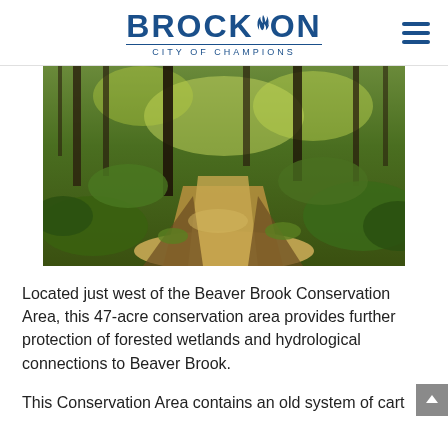BROCKTON CITY OF CHAMPIONS
[Figure (photo): Forest path through wooded conservation area with dappled sunlight, green foliage, and bare dirt trail]
Located just west of the Beaver Brook Conservation Area, this 47-acre conservation area provides further protection of forested wetlands and hydrological connections to Beaver Brook.
This Conservation Area contains an old system of cart